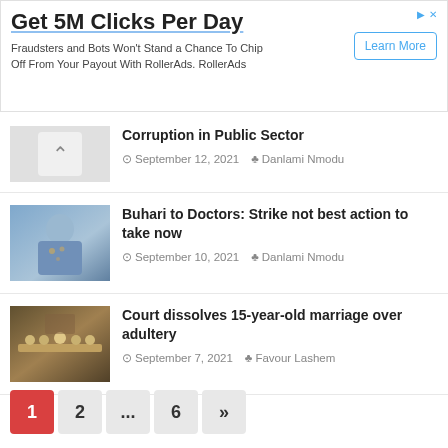[Figure (other): Advertisement banner: Get 5M Clicks Per Day. Fraudsters and Bots Won't Stand a Chance To Chip Off From Your Payout With RollerAds. RollerAds. Learn More button.]
Corruption in Public Sector
September 12, 2021  Danlami Nmodu
[Figure (photo): Photo of Buhari signing documents, wearing a blue outfit and cap]
Buhari to Doctors: Strike not best action to take now
September 10, 2021  Danlami Nmodu
[Figure (photo): Photo of a court chamber with officials seated at a long table]
Court dissolves 15-year-old marriage over adultery
September 7, 2021  Favour Lashem
1  2  ...  6  »